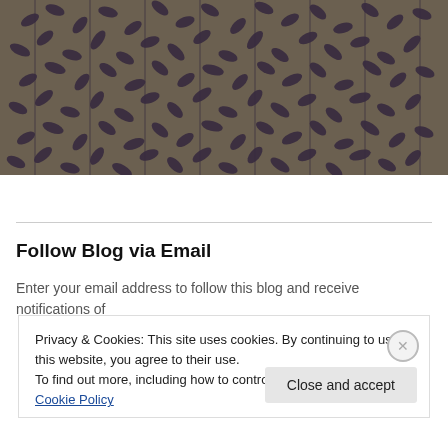[Figure (illustration): Decorative dark purple leaf pattern on a brownish-gray background, used as a header/banner image.]
Follow Blog via Email
Enter your email address to follow this blog and receive notifications of
Privacy & Cookies: This site uses cookies. By continuing to use this website, you agree to their use.
To find out more, including how to control cookies, see here: Cookie Policy
Close and accept